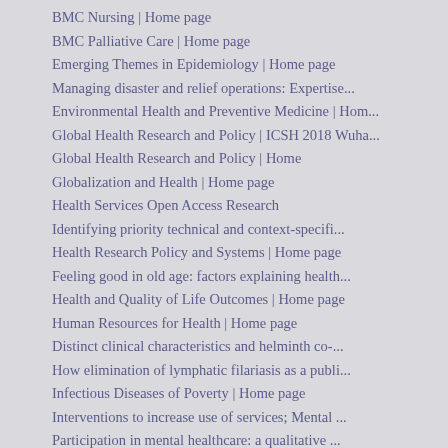BMC Nursing | Home page
BMC Palliative Care | Home page
Emerging Themes in Epidemiology | Home page
Managing disaster and relief operations: Expertise...
Environmental Health and Preventive Medicine | Hom...
Global Health Research and Policy | ICSH 2018 Wuha...
Global Health Research and Policy | Home
Globalization and Health | Home page
Health Services Open Access Research
Identifying priority technical and context-specifi...
Health Research Policy and Systems | Home page
Feeling good in old age: factors explaining health...
Health and Quality of Life Outcomes | Home page
Human Resources for Health | Home page
Distinct clinical characteristics and helminth co-...
How elimination of lymphatic filariasis as a publi...
Infectious Diseases of Poverty | Home page
Interventions to increase use of services; Mental ...
Participation in mental healthcare: a qualitative ...
International Journal of Mental Health Systems | H...
Updates and reflections about the IJHPR, on the ev...
Israel Journal of Health Policy Research | Home pa...
A reflection of self-care in the mental health fie...
Journal of Compassionate Health Care | Home page
Public health failure in the prevention of neural ...